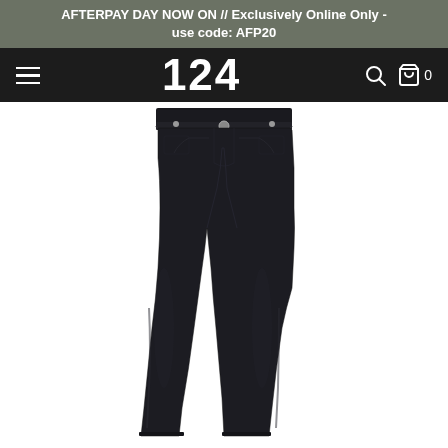AFTERPAY DAY NOW ON // Exclusively Online Only - use code: AFP20
124
[Figure (photo): Product photo of dark navy/black slim fit jeans displayed against a white background, showing the full length from waist to ankle.]